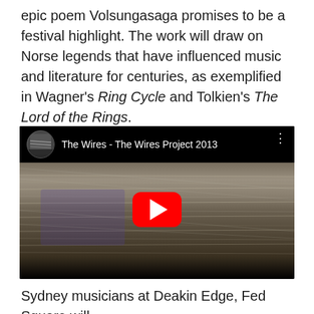epic poem Volsungasaga promises to be a festival highlight. The work will draw on Norse legends that have influenced music and literature for centuries, as exemplified in Wagner's Ring Cycle and Tolkien's The Lord of the Rings.
[Figure (screenshot): YouTube video thumbnail for 'The Wires - The Wires Project 2013' showing abstract wire/line imagery with a red YouTube play button in the center]
Sydney musicians at Deakin Edge, Fed Square will